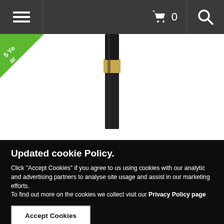Navigation bar with hamburger menu, shopping cart (0 items), and search icon
[Figure (photo): Product photo of a black bollard outdoor lamp with gold/brass accent ring, white background, 5-year warranty badge in green triangle at top-left corner]
Updated cookie Policy.
Click "Accept Cookies" if you agree to us using cookies with our analytic and advertising partners to analyse site usage and assist in our marketing efforts.
To find out more on the cookies we collect visit our Privacy Policy page
Accept Cookies